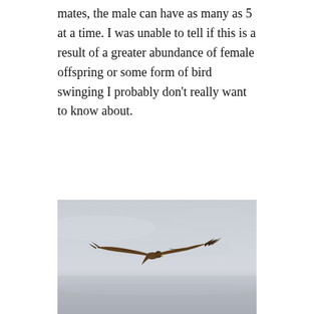mates, the male can have as many as 5 at a time. I was unable to tell if this is a result of a greater abundance of female offspring or some form of bird swinging I probably don't really want to know about.
[Figure (photo): A bird of prey (hawk or harrier) in flight against a pale grey sky, wings spread wide, photographed from below and slightly behind, showing brown and dark wing feathers. The horizon shows a faint misty landscape below.]